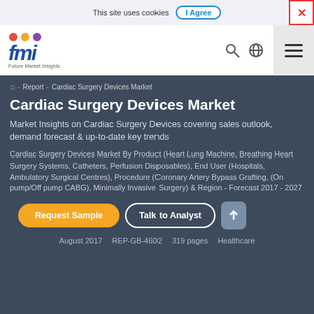This site uses cookies  I Agree  ×
[Figure (logo): Future Market Insights (fmi) logo with colored dots above the letters]
Report  -  Cardiac Surgery Devices Market
Cardiac Surgery Devices Market
Market Insights on Cardiac Surgery Devices covering sales outlook, demand forecast & up-to-date key trends
Cardiac Surgery Devices Market By Product (Heart Lung Machine, Breathing Heart Surgery Systems, Catheters, Perfusion Disposables), End User (Hospitals, Ambulatory Surgical Centres), Procedure (Coronary Artery Bypass Grafting, (On pump/Off pump CABG), Minimally Invasive Surgery) & Region - Forecast 2017 - 2027
Request Sample   Talk to Analyst
August 2017   REP-GB-4602   319 pages   Healthcare